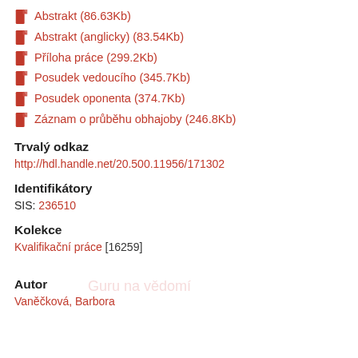Abstrakt (86.63Kb)
Abstrakt (anglicky) (83.54Kb)
Příloha práce (299.2Kb)
Posudek vedoucího (345.7Kb)
Posudek oponenta (374.7Kb)
Záznam o průběhu obhajoby (246.8Kb)
Trvalý odkaz
http://hdl.handle.net/20.500.11956/171302
Identifikátory
SIS: 236510
Kolekce
Kvalifikační práce [16259]
Autor
Vaněčková, Barbora